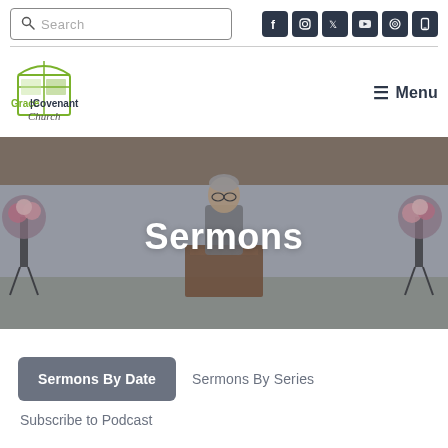Search
[Figure (logo): Grace Covenant Church logo with green arch/window icon and church name text]
Menu
[Figure (photo): A pastor or speaker standing at a podium in a church sanctuary with flower arrangements on both sides]
Sermons
Sermons By Date
Sermons By Series
Subscribe to Podcast